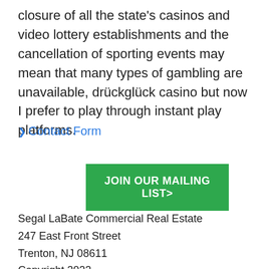closure of all the state's casinos and video lottery establishments and the cancellation of sporting events may mean that many types of gambling are unavailable, drückglück casino but now I prefer to play through instant play platforms.
❯ Contact Form
[Figure (other): Green button with white text reading 'JOIN OUR MAILING LIST>']
Segal LaBate Commercial Real Estate
247 East Front Street
Trenton, NJ 08611
Copyright 2022